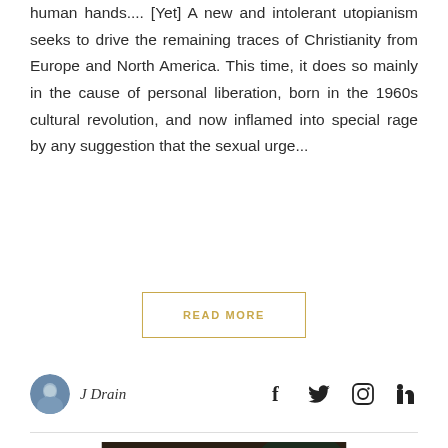human hands.... [Yet] A new and intolerant utopianism seeks to drive the remaining traces of Christianity from Europe and North America. This time, it does so mainly in the cause of personal liberation, born in the 1960s cultural revolution, and now inflamed into special rage by any suggestion that the sexual urge...
READ MORE
J Drain
[Figure (photo): White marble or plaster sculpture of a head with curly hair, viewed from slightly above, placed in front of a dark background with foliage.]